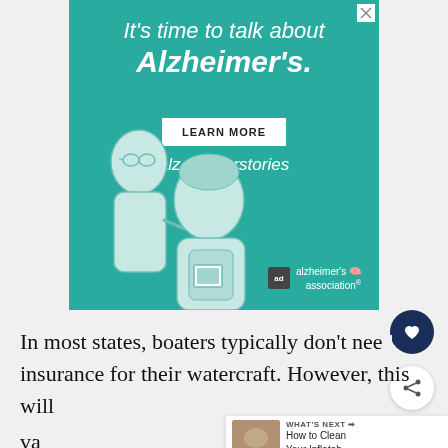[Figure (illustration): Advertisement banner for Alzheimer's Association with teal background. Text reads 'It's time to talk about Alzheimer's.' with a LEARN MORE button and alz.org/ourstories URL. Features an illustration of two people (an older and younger person) talking. Alzheimer's Association logo in bottom right.]
In most states, boaters typically don't need insurance for their watercraft. However, this will va...ng of